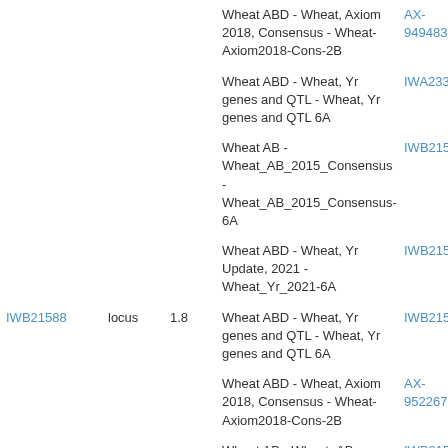| ID | Type | Value | Map | Marker |
| --- | --- | --- | --- | --- |
|  |  |  | Wheat ABD - Wheat, Axiom 2018, Consensus - Wheat-Axiom2018-Cons-2B | AX-9494836 |
|  |  |  | Wheat ABD - Wheat, Yr genes and QTL - Wheat, Yr genes and QTL 6A | IWA233 |
|  |  |  | Wheat AB - Wheat_AB_2015_Consensus - Wheat_AB_2015_Consensus-6A | IWB2158 |
|  |  |  | Wheat ABD - Wheat, Yr Update, 2021 - Wheat_Yr_2021-6A | IWB2158 |
| IWB21588 | locus | 1.8 | Wheat ABD - Wheat, Yr genes and QTL - Wheat, Yr genes and QTL 6A | IWB2158 |
|  |  |  | Wheat ABD - Wheat, Axiom 2018, Consensus - Wheat-Axiom2018-Cons-2B | AX-9522672 |
|  |  |  | Wheat AB - Wheat_AB, Mohawk x Cocorit69 - Wheat_AB, Mohawk x Cocorit69 6A_ | IWB2158 |
|  |  |  | Wheat AB - Wheat_AB_2015_Consensus |  |